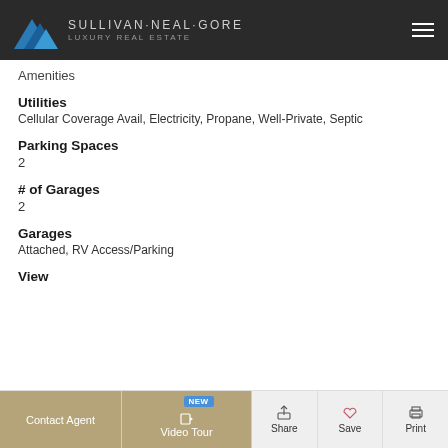Sullivan·Neal·Gore Luxury Real Estate
Amenities
Utilities
Cellular Coverage Avail, Electricity, Propane, Well-Private, Septic
Parking Spaces
2
# of Garages
2
Garages
Attached, RV Access/Parking
View
Contact Agent | Video Tour | Share | Save | Print